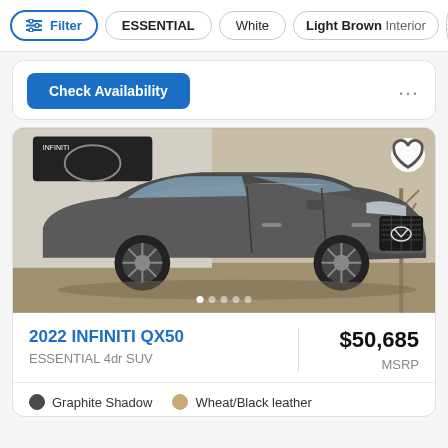Filter | ESSENTIAL | White | Light Brown Interior >
[Figure (screenshot): Bottom portion of a previous car listing card showing a 'Check Availability' blue button and a three-dot menu icon]
[Figure (photo): 2022 INFINITI QX50 SUV in Graphite Shadow color, front three-quarter view parked in front of a dealership]
2022 INFINITI QX50
ESSENTIAL 4dr SUV
$50,685
MSRP
Graphite Shadow
Wheat/Black leather